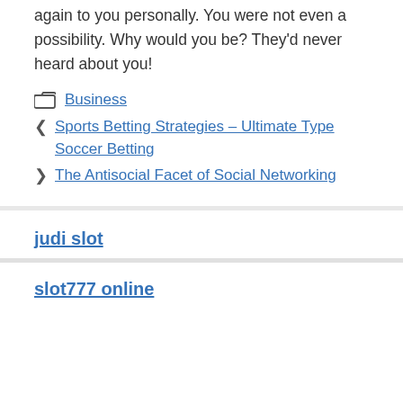again to you personally. You were not even a possibility. Why would you be? They'd never heard about you!
Business
Sports Betting Strategies – Ultimate Type Soccer Betting
The Antisocial Facet of Social Networking
judi slot
slot777 online